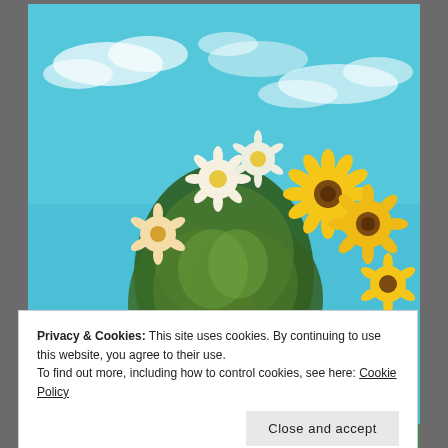[Figure (photo): A person holding up a bouquet of wildflowers including yellow sunflowers, white daisies, and green foliage against a bright blue sky with scattered white clouds.]
Privacy & Cookies: This site uses cookies. By continuing to use this website, you agree to their use.
To find out more, including how to control cookies, see here: Cookie Policy
Close and accept